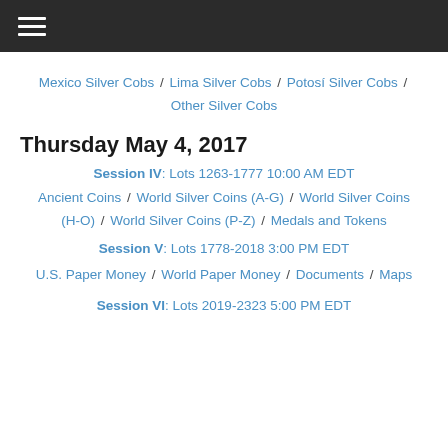☰ (hamburger menu)
Mexico Silver Cobs / Lima Silver Cobs / Potosí Silver Cobs / Other Silver Cobs
Thursday May 4, 2017
Session IV: Lots 1263-1777 10:00 AM EDT
Ancient Coins / World Silver Coins (A-G) / World Silver Coins (H-O) / World Silver Coins (P-Z) / Medals and Tokens
Session V: Lots 1778-2018 3:00 PM EDT
U.S. Paper Money / World Paper Money / Documents / Maps
Session VI: Lots 2019-2323 5:00 PM EDT